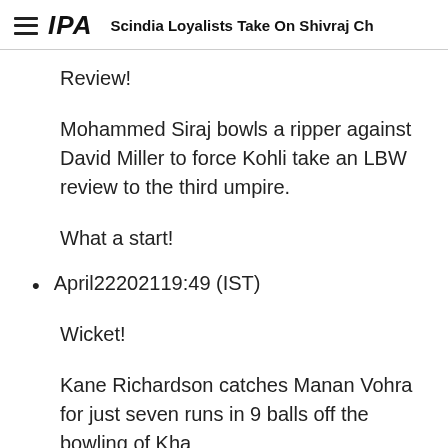IPA — Scindia Loyalists Take On Shivraj Ch
Review!
Mohammed Siraj bowls a ripper against David Miller to force Kohli take an LBW review to the third umpire.
What a start!
April22202119:49 (IST)
Wicket!
Kane Richardson catches Manan Vohra for just seven runs in 9 balls off the bowling of Kha